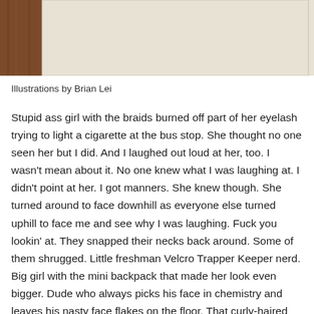[Figure (illustration): Partial illustration showing a wooden surface on the left and a light beige/cream background with a small dark object at the top right corner]
Illustrations by Brian Lei
Stupid ass girl with the braids burned off part of her eyelash trying to light a cigarette at the bus stop. She thought no one seen her but I did. And I laughed out loud at her, too. I wasn't mean about it. No one knew what I was laughing at. I didn't point at her. I got manners. She knew though. She turned around to face downhill as everyone else turned uphill to face me and see why I was laughing. Fuck you lookin' at. They snapped their necks back around. Some of them shrugged. Little freshman Velcro Trapper Keeper nerd. Big girl with the mini backpack that made her look even bigger. Dude who always picks his face in chemistry and leaves his nasty face flakes on the floor. That curly-haired white girl who used to wear neckgear in middle school.